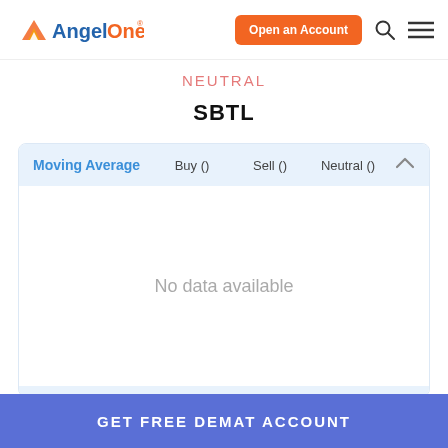[Figure (logo): AngelOne logo with orange triangle icon and text 'Angel' in blue and 'One' in orange with registered trademark symbol]
[Figure (other): Orange 'Open an Account' button, search icon, and hamburger menu icon in header]
NEUTRAL
SBTL
| Moving Average | Buy () | Sell () | Neutral () |
| --- | --- | --- | --- |
| No data available |  |  |  |
GET FREE DEMAT ACCOUNT